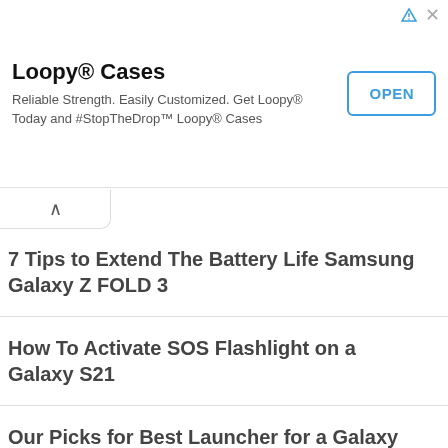[Figure (screenshot): Advertisement banner for Loopy Cases with OPEN button and ad icons]
7 Tips to Extend The Battery Life Samsung Galaxy Z FOLD 3
How To Activate SOS Flashlight on a Galaxy S21
Our Picks for Best Launcher for a Galaxy S20